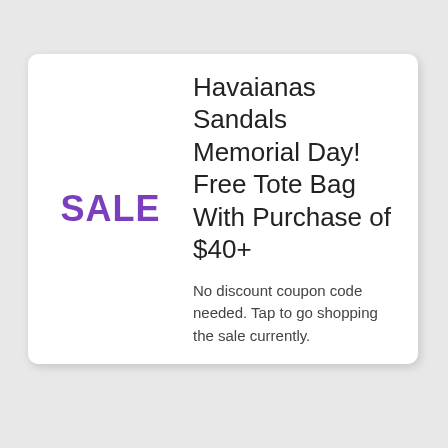SALE
Havaianas Sandals Memorial Day! Free Tote Bag With Purchase of $40+
No discount coupon code needed. Tap to go shopping the sale currently.